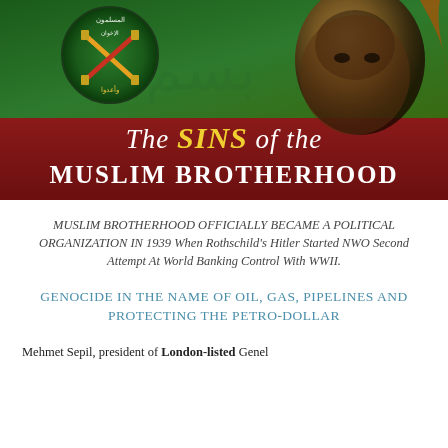[Figure (illustration): Banner image with green and dark red background showing Muslim Brotherhood emblem/logo on left side with Arabic text, and a silhouetted face on the right. Text overlay reads 'The SINS of the MUSLIM BROTHERHOOD']
MUSLIM BROTHERHOOD OFFICIALLY BECAME A POLITICAL ORGANIZATION IN 1939 When Rothschild's Hitler Started NWO Second Attempt At World Banking Control With WWII.
GENOCIDE IN THE NAME OF OIL, GAS, PIPELINES AND PROTECTING THE PETRO-DOLLAR
Mehmet Sepil, president of London-listed Genel